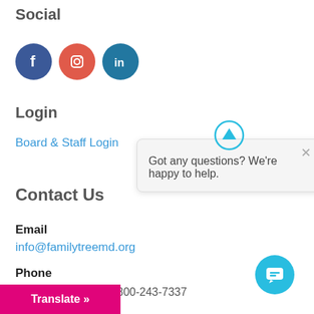Social
[Figure (illustration): Three social media icons: Facebook (blue circle with f), Instagram (red/orange circle with camera), LinkedIn (teal circle with in)]
Login
Board & Staff Login
Contact Us
Email
info@familytreemd.org
Phone
Parenting HelpLine: 800-243-7337
[Figure (screenshot): Chat popup with up-arrow icon, close X, text 'Got any questions? We're happy to help.' and a cyan chat button in bottom right corner]
Translate »